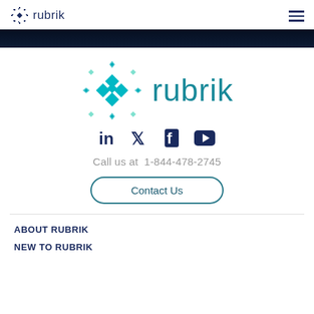rubrik
[Figure (logo): Rubrik logo with teal geometric diamond pattern icon and 'rubrik' wordmark in teal]
[Figure (infographic): Social media icons: LinkedIn, Twitter/X, Facebook, YouTube in dark navy]
Call us at  1-844-478-2745
Contact Us
ABOUT RUBRIK
NEW TO RUBRIK